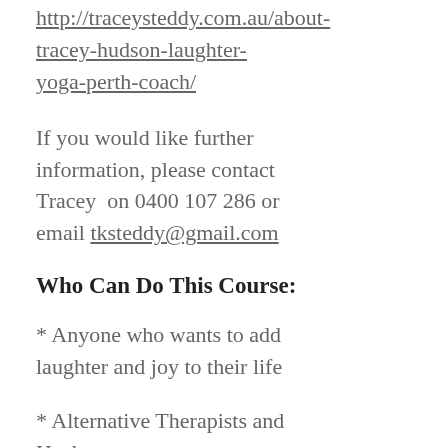http://traceysteddy.com.au/about-tracey-hudson-laughter-yoga-perth-coach/
If you would like further information, please contact Tracey on 0400 107 286 or email tksteddy@gmail.com
Who Can Do This Course:
* Anyone who wants to add laughter and joy to their life
* Alternative Therapists and Healers